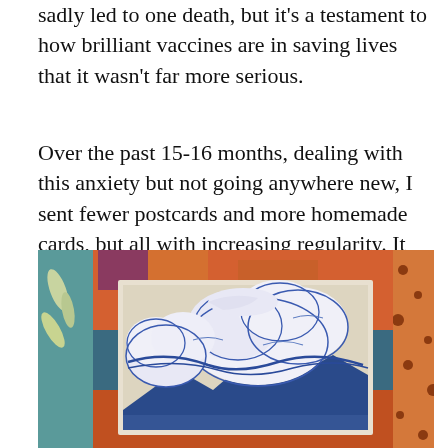sadly led to one death, but it's a testament to how brilliant vaccines are in saving lives that it wasn't far more serious.
Over the past 15-16 months, dealing with this anxiety but not going anywhere new, I sent fewer postcards and more homemade cards, but all with increasing regularity. It became a weekly ritual to make a cheery card if I had time, or root around my shoebox collections for a suitable postcard to send along with a TV paper.
[Figure (photo): A photograph of a postcard or art print showing swirling blue and white clouds over dark blue mountain peaks, lying on a colorful patterned fabric background with orange, teal, and multi-colored designs.]